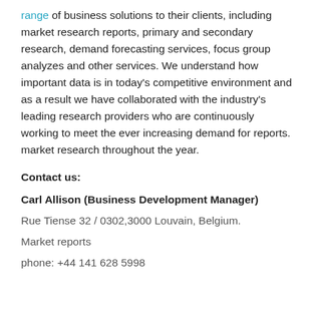range of business solutions to their clients, including market research reports, primary and secondary research, demand forecasting services, focus group analyzes and other services. We understand how important data is in today's competitive environment and as a result we have collaborated with the industry's leading research providers who are continuously working to meet the ever increasing demand for reports. market research throughout the year.
Contact us:
Carl Allison (Business Development Manager)
Rue Tiense 32 / 0302,3000 Louvain, Belgium.
Market reports
phone: +44 141 628 5998